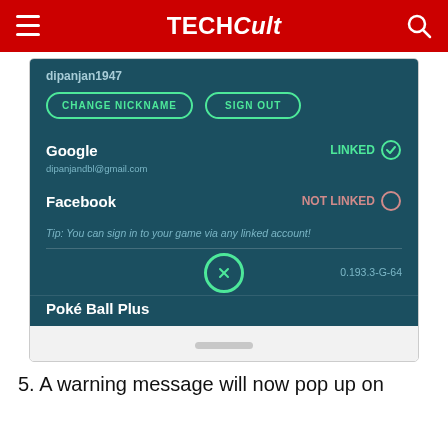TECHCult
[Figure (screenshot): Mobile app screenshot showing account settings screen with nickname 'dipanjan1947', CHANGE NICKNAME and SIGN OUT buttons, Google account linked (dipanjandbl@gmail.com), Facebook NOT LINKED, tip text, version 0.193.3-G-64, and Poké Ball Plus section header.]
5. A warning message will now pop up on